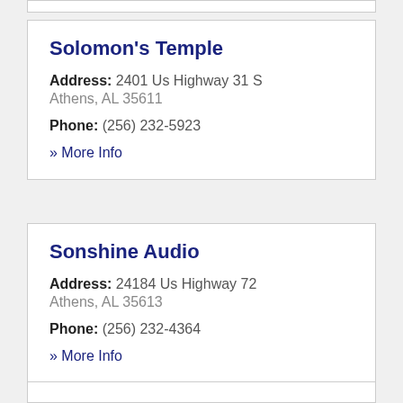Solomon's Temple
Address: 2401 Us Highway 31 S Athens, AL 35611
Phone: (256) 232-5923
» More Info
Sonshine Audio
Address: 24184 Us Highway 72 Athens, AL 35613
Phone: (256) 232-4364
» More Info